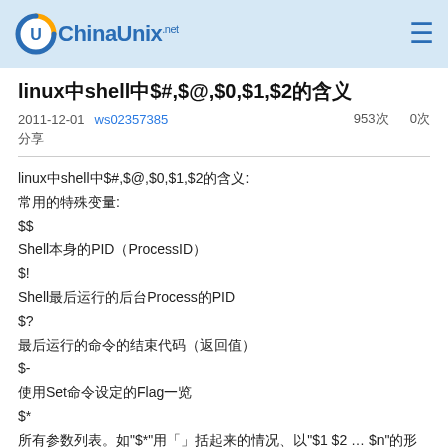ChinaUnix
linux中shell中$#,$@,$0,$1,$2的含义
2011-12-01   ws02357385   953次  0次
分享
linux中shell中$#,$@,$0,$1,$2的含义:
常用的特殊变量:
$$
Shell本身的PID（ProcessID）
$!
Shell最后运行的后台Process的PID
$?
最后运行的命令的结束代码（返回值）
$-
使用Set命令设定的Flag一览
$*
所有参数列表。如"$*"用「」括起来的情况、以"$1 $2 … $n"的形式输出所有参数。
$@
所有参数列表。如"$@"用「」括起来的情况、以"$1" "$2" … "$n" 的形式输出所有参数。
$#
添加到Shell的参数个数
$0